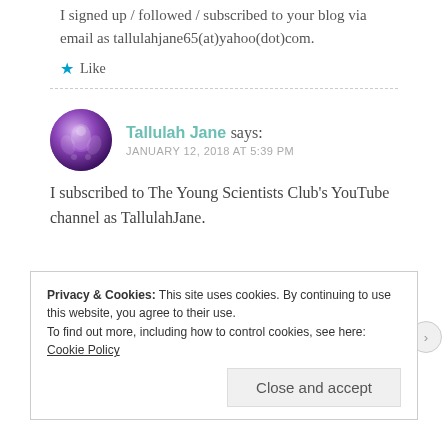I signed up / followed / subscribed to your blog via email as tallulahjane65(at)yahoo(dot)com.
Like
Tallulah Jane says: JANUARY 12, 2018 AT 5:39 PM
I subscribed to The Young Scientists Club's YouTube channel as TallulahJane.
Privacy & Cookies: This site uses cookies. By continuing to use this website, you agree to their use.
To find out more, including how to control cookies, see here: Cookie Policy
Close and accept